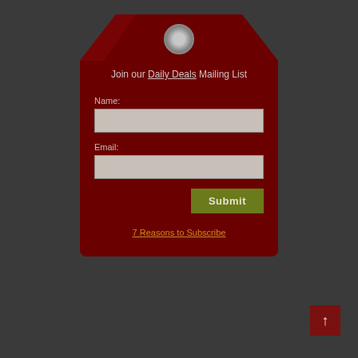[Figure (illustration): Price tag shaped signup form widget with dark red background, hole at top, containing a mailing list signup form]
Join our Daily Deals Mailing List
Name:
Email:
Submit
7 Reasons to Subscribe